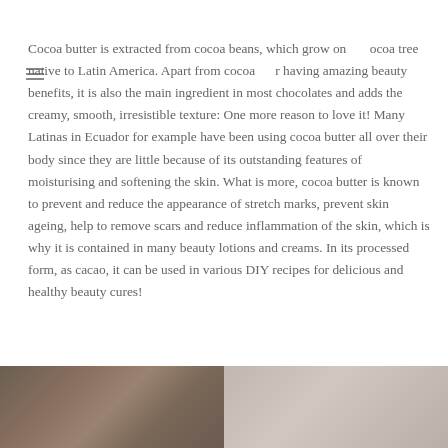Cocoa butter is extracted from cocoa beans, which grow on cocoa tree native to Latin America. Apart from cocoa butter having amazing beauty benefits, it is also the main ingredient in most chocolates and adds the creamy, smooth, irresistible texture: One more reason to love it! Many Latinas in Ecuador for example have been using cocoa butter all over their body since they are little because of its outstanding features of moisturising and softening the skin. What is more, cocoa butter is known to prevent and reduce the appearance of stretch marks, prevent skin ageing, help to remove scars and reduce inflammation of the skin, which is why it is contained in many beauty lotions and creams. In its processed form, as cacao, it can be used in various DIY recipes for delicious and healthy beauty cures!
[Figure (photo): Two photos side by side at bottom of page: left shows cocoa pods/plant material in dark tones, right shows a light blurred background]